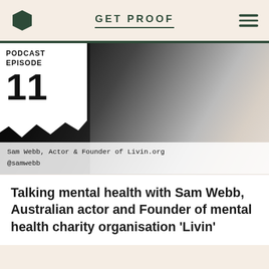GET PROOF
[Figure (photo): Podcast Episode 11 thumbnail: man in white shirt speaking into a microphone, with 'PODCAST EPISODE 11' text overlay. Caption reads: Sam Webb, Actor & Founder of Livin.org @samwebb]
Sam Webb, Actor & Founder of Livin.org
@samwebb
Talking mental health with Sam Webb, Australian actor and Founder of mental health charity organisation 'Livin'